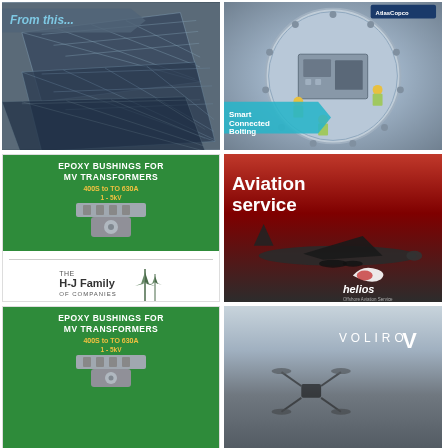[Figure (photo): Damaged/stacked solar panels with text 'From this...' overlay]
[Figure (photo): Workers in a wind turbine nacelle with 'Smart Connected Bolting' text and AtlasCopco branding]
[Figure (illustration): Epoxy bushings for MV transformers advertisement on green background, with H-J Family of Companies logo below]
[Figure (photo): Aviation service advertisement with jet on red/dark background and Helios branding]
[Figure (illustration): Epoxy bushings for MV transformers advertisement on green background (partial view)]
[Figure (photo): Voliro logo with drone silhouette on sky background]